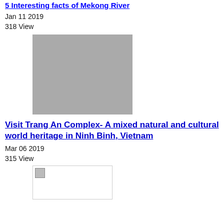5 Interesting facts of Mekong River
Jan 11 2019
318 View
[Figure (photo): Gray placeholder image for Mekong River article]
Visit Trang An Complex- A mixed natural and cultural world heritage in Ninh Binh, Vietnam
Mar 06 2019
315 View
[Figure (photo): Small broken image placeholder for Trang An Complex article]